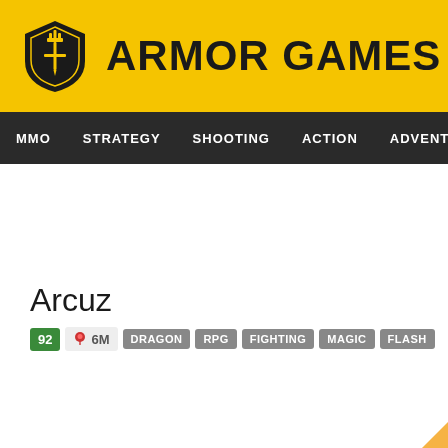ARMOR GAMES
MMO  STRATEGY  SHOOTING  ACTION  ADVENTURE  P
Arcuz
92  6M  DRAGON  RPG  FIGHTING  MAGIC  FLASH